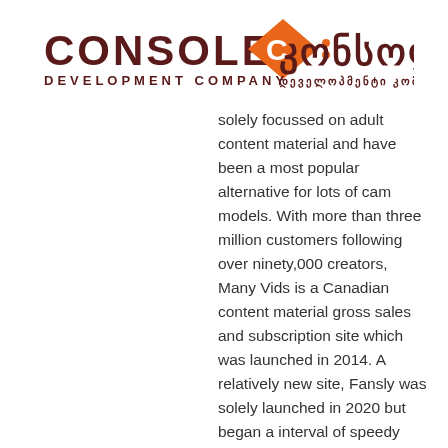[Figure (logo): Console Development Company logo with Georgian text (კონსოლი დეველოპმენტი კომპანია) and orange diamond/C icon]
solely focussed on adult content material and have been a most popular alternative for lots of cam models. With more than three million customers following over ninety,000 creators, Many Vids is a Canadian content material gross sales and subscription site which was launched in 2014. A relatively new site, Fansly was solely launched in 2020 but began a interval of speedy development in 2021 following a surge in new content creators through the COVID-19 pandemic. …Which is why we've provide you with an inventory of the best adult clip sales and subscription sites to make use of in its place for your NSFW content. This news has seen a tsunami of creators